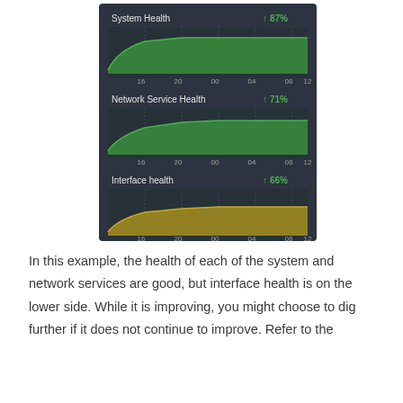[Figure (screenshot): Dashboard screenshot showing three health metric area charts on a dark background: System Health 87% (green, upward arrow), Network Service Health 71% (green, upward arrow), Interface health 66% (gold/yellow, upward arrow). Each chart has time-axis labels: 16, 20, 00, 04, 08, 12.]
In this example, the health of each of the system and network services are good, but interface health is on the lower side. While it is improving, you might choose to dig further if it does not continue to improve. Refer to the